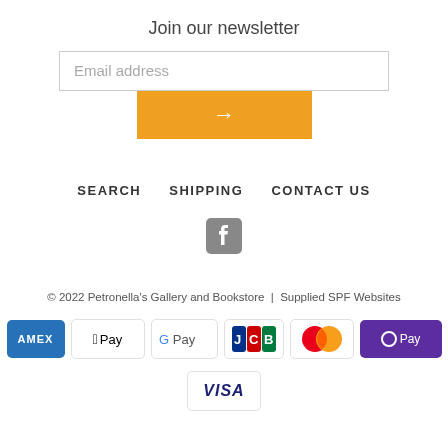Join our newsletter
[Figure (screenshot): Email address input field with placeholder text]
[Figure (screenshot): Orange submit button with right arrow]
SEARCH
SHIPPING
CONTACT US
[Figure (logo): Facebook icon]
© 2022 Petronella's Gallery and Bookstore | Supplied SPF Websites
[Figure (logo): Payment method logos: American Express, Apple Pay, Google Pay, JCB, Mastercard, Samsung Pay, Visa]